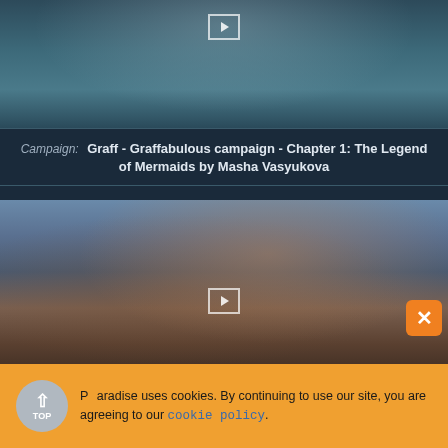[Figure (photo): Dark atmospheric outdoor scene, possibly near water with trees reflected, video thumbnail with play button overlay]
Campaign: Graff - Graffabulous campaign - Chapter 1: The Legend of Mermaids by Masha Vasyukova
[Figure (photo): Close-up portrait of a young man with curly brown hair against a sky background, video thumbnail with play button overlay]
Paradise uses cookies. By continuing to use our site, you are agreeing to our cookie policy.